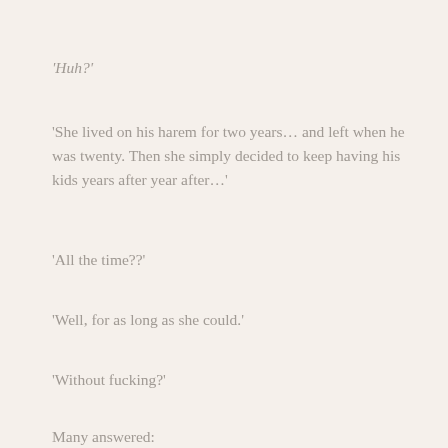‘Huh?’
‘She lived on his harem for two years… and left when he was twenty. Then she simply decided to keep having his kids years after year after…’
‘All the time??’
‘Well, for as long as she could.’
‘Without fucking?’
Many answered:
‘Yes.’
The reporter had to sit down. She couldn’t just listen to all of